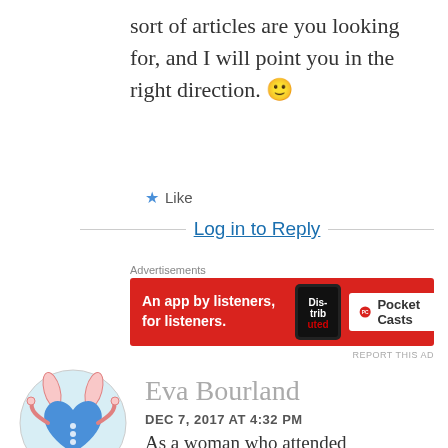sort of articles are you looking for, and I will point you in the right direction. 🙂
★ Like
Log in to Reply
Advertisements
[Figure (screenshot): Advertisement banner for Pocket Casts app: red background with phone showing 'Distributed', text 'An app by listeners, for listeners.' and Pocket Casts logo]
REPORT THIS AD
[Figure (illustration): Circular avatar illustration showing a cartoon blue heart character with bunny ears and legs]
Eva Bourland
DEC 7, 2017 AT 4:32 PM
As a woman who attended